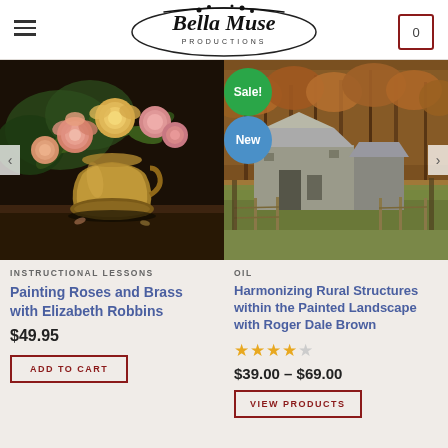Bella Muse Productions
[Figure (illustration): Painting of roses in a brass vase on dark background]
INSTRUCTIONAL LESSONS
Painting Roses and Brass with Elizabeth Robbins
$49.95
ADD TO CART
[Figure (illustration): Painting of a rural barn landscape with autumn trees and green field]
OIL
Harmonizing Rural Structures within the Painted Landscape with Roger Dale Brown
$39.00 – $69.00
VIEW PRODUCTS